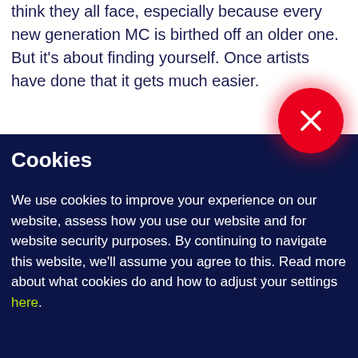think they all face, especially because every new generation MC is birthed off an older one. But it's about finding yourself. Once artists have done that it gets much easier.
[Figure (other): Red circular close/dismiss button with an X icon, positioned at the boundary between the white and dark navy sections]
Cookies
We use cookies to improve your experience on our website, assess how you use our website and for website security purposes. By continuing to navigate this website, we'll assume you agree to this. Read more about what cookies do and how to adjust your settings here.